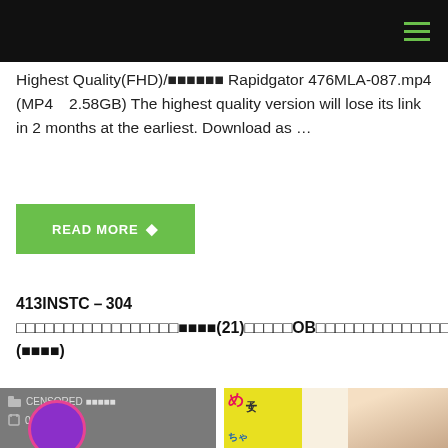Highest Quality(FHD)/■■■■■■ Rapidgator 476MLA-087.mp4 (MP4 2.58GB) The highest quality version will lose its link in 2 months at the earliest. Download as …
READ MORE →
413INSTC-304 □□□□□□□□□□□□□□□□□■■■■(21)□□□□□OB□□□□□□□□□□□□□□□□□□□□□□□□□□□□□□□□□□□□□□□□□□□□□□ (■■■■)
[Figure (photo): Two images side by side: left image shows a censored thumbnail with CENSORED text, folder icon, date 08/22/2022, and a purple circle element at bottom. Right image shows a Japanese magazine-style cover with colorful text and a woman's face.]